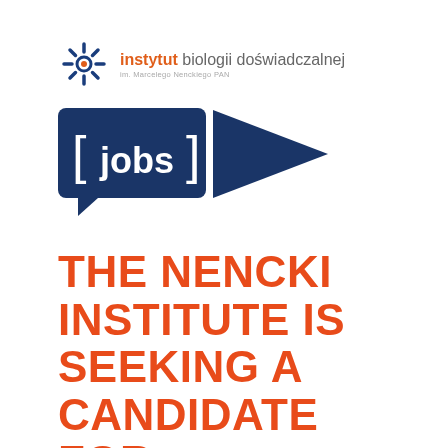[Figure (logo): Instytut Biologii Doświadczalnej im. Marcelego Nenckiego PAN logo with starburst icon and orange/grey text]
[Figure (logo): Jobs logo: dark navy blue speech bubble with 'jobs' in white bold text and a navy blue arrow/triangle shape to the right]
THE NENCKI INSTITUTE IS SEEKING A CANDIDATE FOR THE POSITION OF: POST-